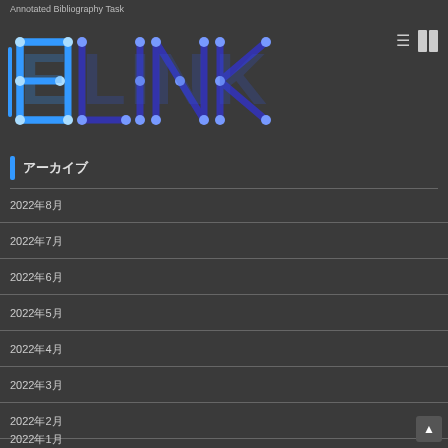Annotated Bibliography Task
[Figure (logo): ELINK logo with stylized blue letters connected by lines and dots on dark background]
アーカイブ
2022年8月
2022年7月
2022年6月
2022年5月
2022年4月
2022年3月
2022年2月
2022年1月